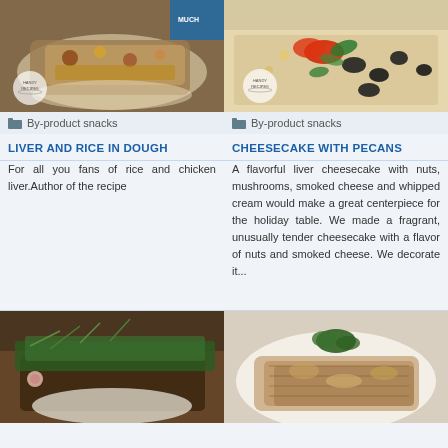[Figure (photo): Food photo: Liver and rice in dough dish on a plate]
By-product snacks
LIVER AND RICE IN DOUGH
For all you fans of rice and chicken liver.Author of the recipe
[Figure (photo): Food photo: Cheesecake with pecans decorated with olives and red peppers]
By-product snacks
CHEESECAKE WITH PECANS
A flavorful liver cheesecake with nuts, mushrooms, smoked cheese and whipped cream would make a great centerpiece for the holiday table. We made a fragrant, unusually tender cheesecake with a flavor of nuts and smoked cheese. We decorate it...
[Figure (photo): Food photo: Fish dish with herbs and greens]
[Figure (photo): Food photo: Meat dish with sauce on a white plate]